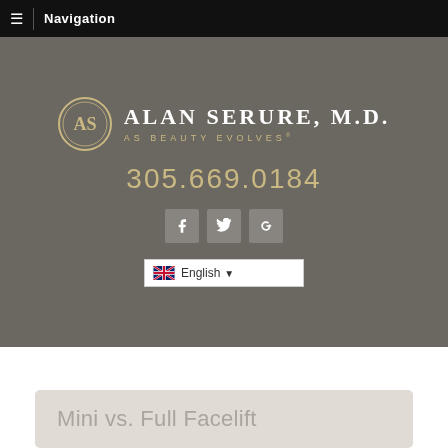Navigation
[Figure (logo): Alan Serure M.D. logo with circular AS emblem and tagline AS BEAUTY EVOLVES]
305.669.0184
[Figure (infographic): Social media icons: Facebook, Twitter, Google+]
English
Mini vs. Full Facelift